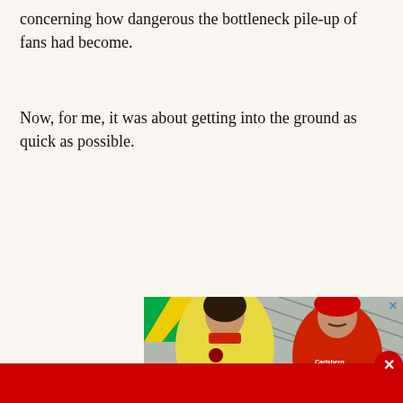concerning how dangerous the bottleneck pile-up of fans had become.
Now, for me, it was about getting into the ground as quick as possible.
[Figure (photo): Advertisement photo showing a woman in a yellow tracksuit and a man in a red Liverpool football shirt sitting in stadium seats. Red banner at bottom reads 'ONLINE STORE' with 'SHOP NOW' button.]